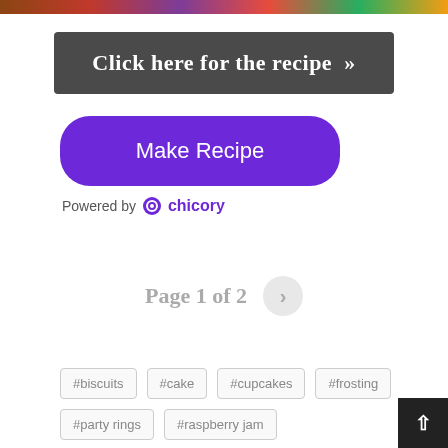[Figure (photo): Partial food/recipe photo strip at the top of the page]
Click here for the recipe »
Make Recipe
Powered by chicory
Page 1 of 2
#biscuits
#cake
#cupcakes
#frosting
#party rings
#raspberry jam